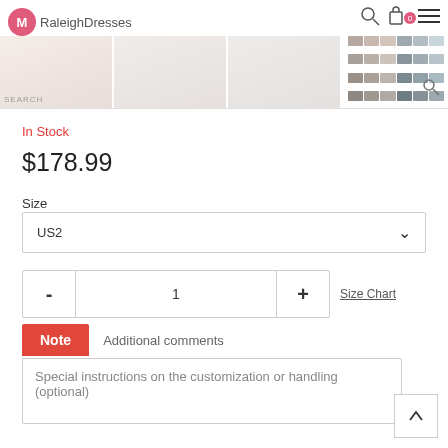RaleighDresses
[Figure (screenshot): E-commerce product page showing wedding dresses image strip with three dress photos and a color swatch grid on the right]
In Stock
$178.99
Size
US2
- 1 +
Size Chart
Note   Additional comments
Special instructions on the customization or handling (optional)